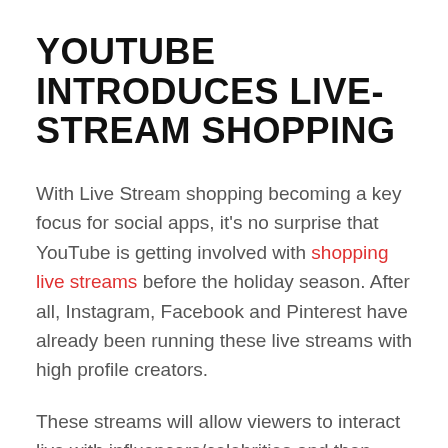YOUTUBE INTRODUCES LIVE-STREAM SHOPPING
With Live Stream shopping becoming a key focus for social apps, it's no surprise that YouTube is getting involved with shopping live streams before the holiday season. After all, Instagram, Facebook and Pinterest have already been running these live streams with high profile creators.
These streams will allow viewers to interact live with influencers/celebrities and then purchase products in the app. Think TV shopping channels but the viewers are tuned in because they are interested in the influencer/celebrity. It'll be very interesting to see how